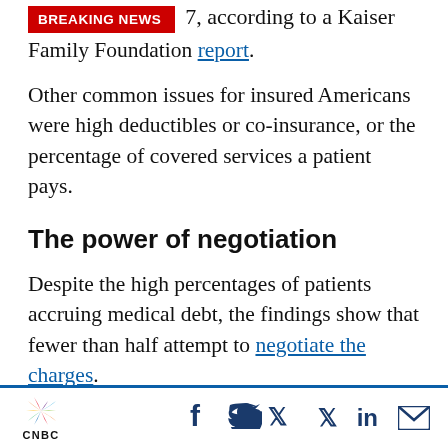7, according to a Kaiser Family Foundation report.
Other common issues for insured Americans were high deductibles or co-insurance, or the percentage of covered services a patient pays.
The power of negotiation
Despite the high percentages of patients accruing medical debt, the findings show that fewer than half attempt to negotiate the charges.
“We all negotiate every day,” Smedsrud said.
CNBC | Social share icons: Facebook, Twitter, LinkedIn, Email